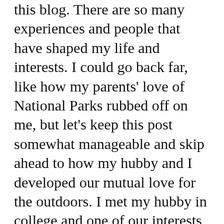this blog. There are so many experiences and people that have shaped my life and interests. I could go back far, like how my parents' love of National Parks rubbed off on me, but let's keep this post somewhat manageable and skip ahead to how my hubby and I developed our mutual love for the outdoors. I met my hubby in college and one of our interests besides playing volleyball was being active and doing our best to not be stuck inside. Going to school in Santa Cruz, CA with the beach and mountains right there, it was a wonder how we graduated. Like [menu icon] college students, we didn't have a lot of money, so hiking